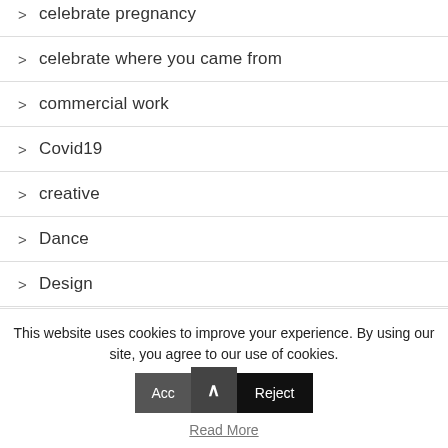> celebrate pregnancy
> celebrate where you came from
> commercial work
> Covid19
> creative
> Dance
> Design
> Flora
This website uses cookies to improve your experience. By using our site, you agree to our use of cookies.
Read More